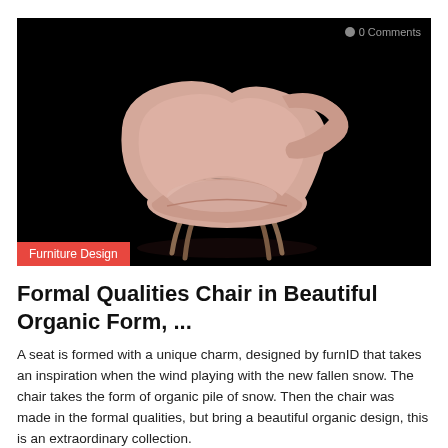[Figure (photo): A pink/blush velvet chair with organic sculptural form and wooden legs, photographed against a black background. The chair has a unique curved backrest resembling a shell or wave form. Photo includes a '0 Comments' badge at top right and a 'Furniture Design' red category label at bottom left.]
Formal Qualities Chair in Beautiful Organic Form, ...
A seat is formed with a unique charm, designed by furnID that takes an inspiration when the wind playing with the new fallen snow. The chair takes the form of organic pile of snow. Then the chair was made in the formal qualities, but bring a beautiful organic design, this is an extraordinary collection.
Admin  0 Comments  Posted in: Furniture Design  0  213